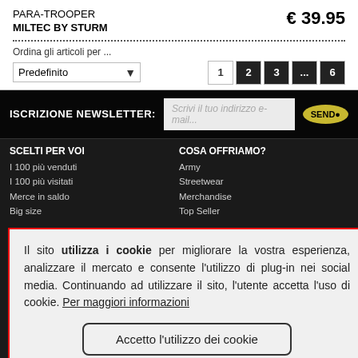PARA-TROOPER MILTEC BY STURM
€ 39.95
Ordina gli articoli per ...
Predefinito
1 2 3 ... 6
ISCRIZIONE NEWSLETTER:
Scrivi il tuo indirizzo e-mail...
SCELTI PER VOI
I 100 più venduti
I 100 più visitati
Merce in saldo
Big size
COSA OFFRIAMO?
Army
Streetwear
Merchandise
Top Seller
Il sito utilizza i cookie per migliorare la vostra esperienza, analizzare il mercato e consente l'utilizzo di plug-in nei social media. Continuando ad utilizzare il sito, l'utente accetta l'uso di cookie. Per maggiori informazioni
Accetto l'utilizzo dei cookie